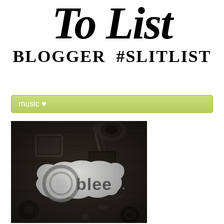To List
BLOGGER #SLITLIST
music ♥
[Figure (photo): Album cover artwork for 'Oblee' — a dark, moody black and white overhead photo of various objects on a wooden surface including camera parts, gears, a microphone, books, and other items, with a white torn-paper style overlay in the center bearing the text 'Oblee' with a stylized circular 'O' logo]